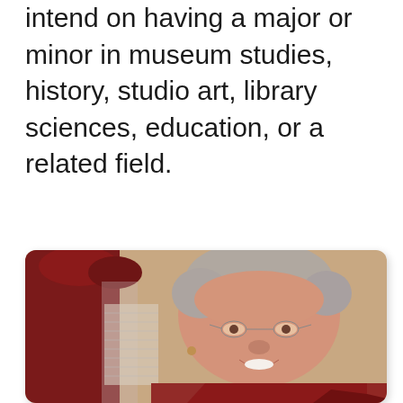intend on having a major or minor in museum studies, history, studio art, library sciences, education, or a related field.
[Figure (photo): Portrait photo of an elderly woman with short curly gray hair, wearing glasses and a red outfit, smiling at the camera. Background shows dark red decorative fabric/bow.]